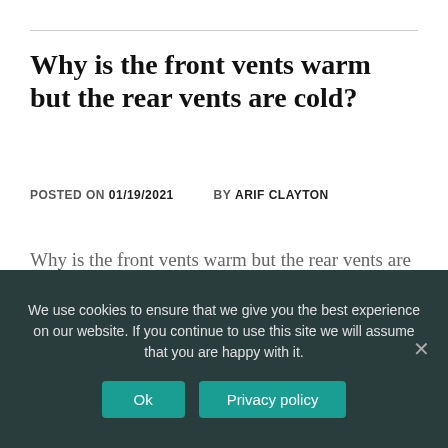Why is the front vents warm but the rear vents are cold?
POSTED ON 01/19/2021   BY ARIF CLAYTON
Why is the front vents warm but the rear vents are cold? The gauge showed that the system was low and I started to fill
We use cookies to ensure that we give you the best experience on our website. If you continue to use this site we will assume that you are happy with it.